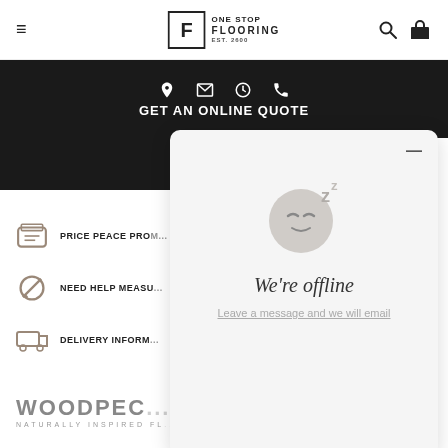One Stop Flooring — EST. 2600
GET AN ONLINE QUOTE
PRICE PEACE PRO...
NEED HELP MEASU...
DELIVERY INFORM...
[Figure (screenshot): We're offline chat widget popup with sleeping face emoji and text 'Leave a message and we will email']
WOODPEC... NATURALLY INSPIRED FL...